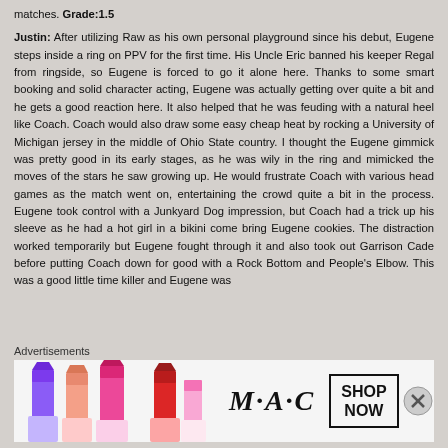matches. Grade:1.5
Justin: After utilizing Raw as his own personal playground since his debut, Eugene steps inside a ring on PPV for the first time. His Uncle Eric banned his keeper Regal from ringside, so Eugene is forced to go it alone here. Thanks to some smart booking and solid character acting, Eugene was actually getting over quite a bit and he gets a good reaction here. It also helped that he was feuding with a natural heel like Coach. Coach would also draw some easy cheap heat by rocking a University of Michigan jersey in the middle of Ohio State country. I thought the Eugene gimmick was pretty good in its early stages, as he was wily in the ring and mimicked the moves of the stars he saw growing up. He would frustrate Coach with various head games as the match went on, entertaining the crowd quite a bit in the process. Eugene took control with a Junkyard Dog impression, but Coach had a trick up his sleeve as he had a hot girl in a bikini come bring Eugene cookies. The distraction worked temporarily but Eugene fought through it and also took out Garrison Cade before putting Coach down for good with a Rock Bottom and People's Elbow. This was a good little time killer and Eugene was
Advertisements
[Figure (other): MAC Cosmetics advertisement showing lipsticks in purple, peach, and pink colors with MAC logo and SHOP NOW button]